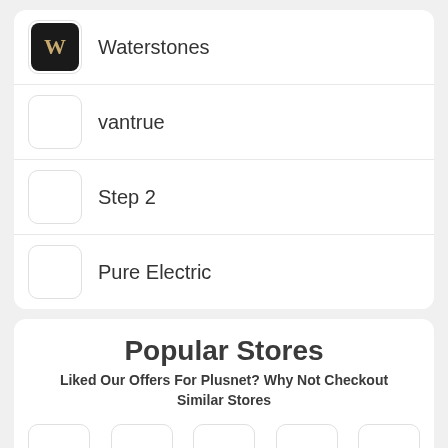Waterstones
vantrue
Step 2
Pure Electric
Popular Stores
Liked Our Offers For Plusnet? Why Not Checkout Similar Stores
[Figure (other): Row of 5 store icon placeholders (empty rounded rectangle boxes)]